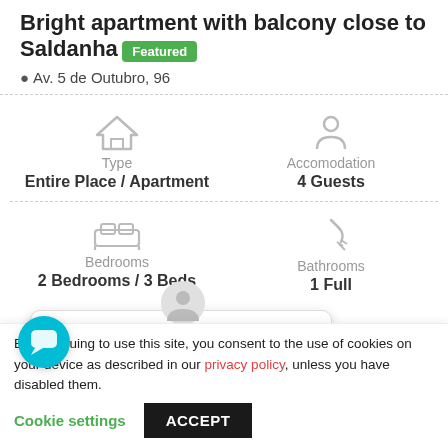Bright apartment with balcony close to Saldanha Featured
Av. 5 de Outubro, 96
Type
Entire Place / Apartment
Accomodation
4 Guests
Bedrooms
2 Bedrooms / 3 Beds
Bathrooms
1 Full
Hi. How can I help you?
By continuing to use this site, you consent to the use of cookies on your device as described in our privacy policy, unless you have disabled them.
Cookie settings
ACCEPT